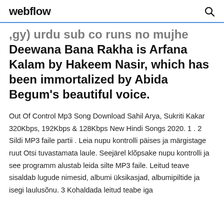webflow
,gy) urdu sub co runs no mujhe Deewana Bana Rakha is Arfana Kalam by Hakeem Nasir, which has been immortalized by Abida Begum's beautiful voice.
Out Of Control Mp3 Song Download Sahil Arya, Sukriti Kakar 320Kbps, 192Kbps & 128Kbps New Hindi Songs 2020. 1 . 2 Sildi MP3 faile partii . Leia nupu kontrolli päises ja märgistage ruut Otsi tuvastamata laule. Seejärel klõpsake nupu kontrolli ja see programm alustab leida silte MP3 faile. Leitud teave sisaldab lugude nimesid, albumi üksikasjad, albumipiltide ja isegi laulusõnu. 3 Kohaldada leitud teabe iga